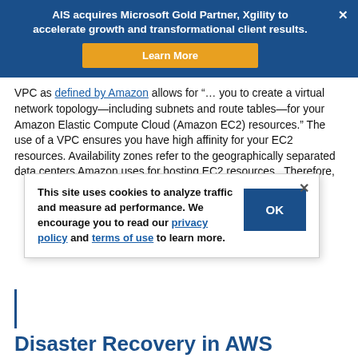AIS acquires Microsoft Gold Partner, Xgility to accelerate growth and transformational client results.
VPC as defined by Amazon allows for "… you to create a virtual network topology—including subnets and route tables—for your Amazon Elastic Compute Cloud (Amazon EC2) resources." The use of a VPC ensures you have high affinity for your EC2 resources. Availability zones refer to the geographically separated data centers Amazon uses for hosting EC2 resources. Therefore,
[Figure (screenshot): Cookie consent popup with message 'This site uses cookies to analyze traffic and measure ad performance. We encourage you to read our privacy policy and terms of use to learn more.' and an OK button.]
Disaster Recovery in AWS